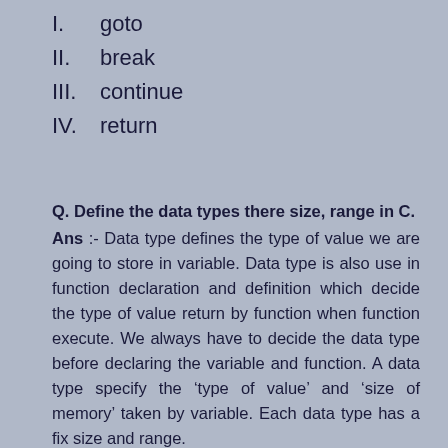I.   goto
II.  break
III. continue
IV.  return
Q. Define the data types there size, range in C.
Ans :- Data type defines the type of value we are going to store in variable. Data type is also use in function declaration and definition which decide the type of value return by function when function execute. We always have to decide the data type before declaring the variable and function. A data type specify the ‘type of value’ and ‘size of memory’ taken by variable. Each data type has a fix size and range.
In C we can classified the data types in 4 categories:-
1.   Basic Types – The...